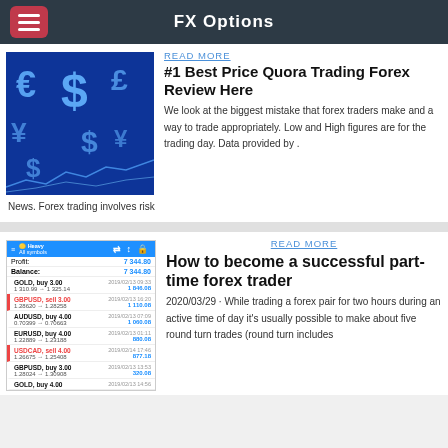FX Options
READ MORE
#1 Best Price Quora Trading Forex  Review Here
We look at the biggest mistake that forex traders make and a way to trade appropriately. Low and High figures are for the trading day. Data provided by . News. Forex trading involves risk
[Figure (screenshot): Currency symbols (dollar, euro, pound, yen) on blue digital background]
READ MORE
How to become a successful part-time forex trader
2020/03/29 · While trading a forex pair for two hours during an active time of day it's usually possible to make about five round turn trades (round turn includes
[Figure (screenshot): Trading platform showing forex and gold positions including GOLD buy 3.00, GBPUSD sell 3.00, AUDUSD buy 4.00, EURUSD buy 4.00, USDCAD sell 4.00, GBPUSD buy 3.00, GOLD buy 4.00 with profit and balance of 7,344.80]